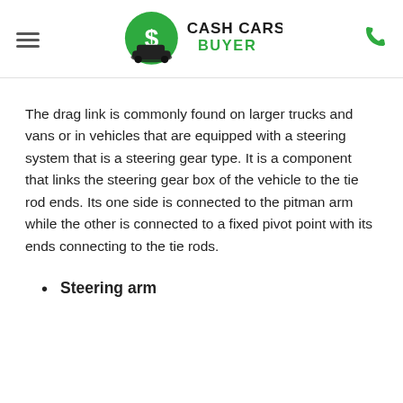Cash Cars Buyer (logo)
The drag link is commonly found on larger trucks and vans or in vehicles that are equipped with a steering system that is a steering gear type. It is a component that links the steering gear box of the vehicle to the tie rod ends. Its one side is connected to the pitman arm while the other is connected to a fixed pivot point with its ends connecting to the tie rods.
Steering arm